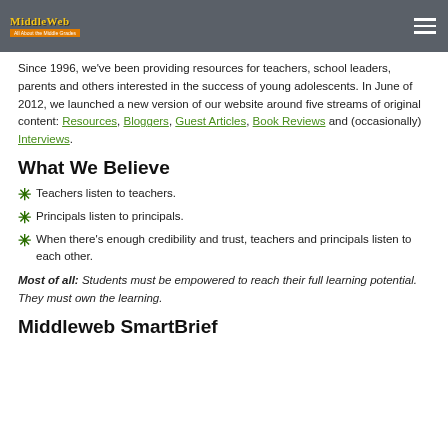MiddleWeb
Since 1996, we've been providing resources for teachers, school leaders, parents and others interested in the success of young adolescents. In June of 2012, we launched a new version of our website around five streams of original content: Resources, Bloggers, Guest Articles, Book Reviews and (occasionally) Interviews.
What We Believe
Teachers listen to teachers.
Principals listen to principals.
When there's enough credibility and trust, teachers and principals listen to each other.
Most of all: Students must be empowered to reach their full learning potential. They must own the learning.
Middleweb SmartBrief